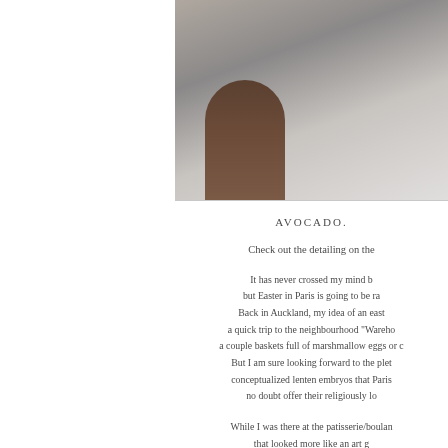[Figure (photo): Partial view of a photo showing what appears to be fabric or clothing in gray tones, with a dark brown rounded object visible at the bottom left of the photo area. The photo occupies the right portion of the top half of the page.]
AVOCADO.
Check out the detailing on the
It has never crossed my mind b but Easter in Paris is going to be ra Back in Auckland, my idea of an east a quick trip to the neighbourhood "Wareho a couple baskets full of marshmallow eggs or c But I am sure looking forward to the plet conceptualized lenten embryos that Paris no doubt offer their religiously lo
While I was there at the patisserie/boulan that looked more like an art g I thought I may as well pick up a cou to tie me over 'til dinner